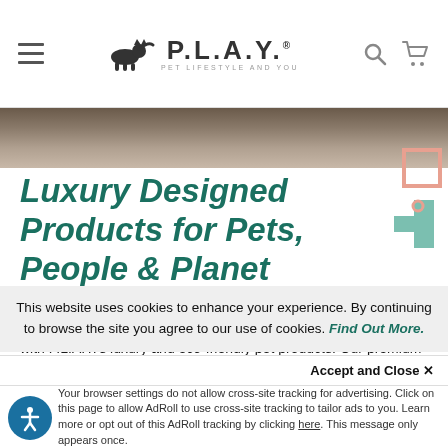P.L.A.Y. PET LIFESTYLE AND YOU — Navigation header with hamburger menu, logo, search and cart icons
[Figure (photo): Dark gray/brown banner image strip, appears to show a blurred surface or pet bed]
[Figure (illustration): Decorative geometric shapes in coral/salmon pink and teal/mint green on top right corner]
Luxury Designed Products for Pets, People & Planet
Pamper your pet, update your home décor and save the planet with P.L.A.Y.'s luxury and eco-friendly pet products. Our premium pet beds are not only functional, but they're also 100% machine washable, stylish enough to look good your home & their plush filling is made from recycled plastic bottles!
This website uses cookies to enhance your experience. By continuing to browse the site you agree to our use of cookies. Find Out More.
Accept and Close ✕
Your browser settings do not allow cross-site tracking for advertising. Click on this page to allow AdRoll to use cross-site tracking to tailor ads to you. Learn more or opt out of this AdRoll tracking by clicking here. This message only appears once.